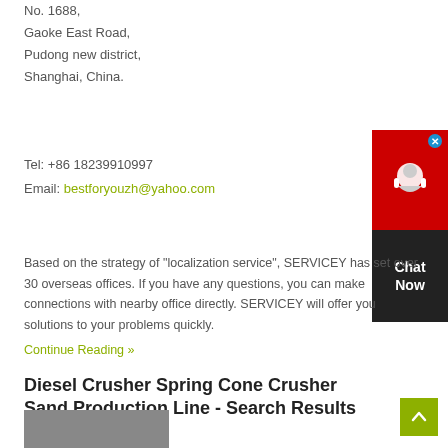No. 1688,
Gaoke East Road,
Pudong new district,
Shanghai, China.
Tel: +86 18239910997
Email: bestforyouzh@yahoo.com
[Figure (other): Chat Now widget with red top section containing a headset icon, dark bottom section with 'Chat Now' text, and a blue close button]
Based on the strategy of "localization service", SERVICEY has set over 30 overseas offices. If you have any questions, you can make connections with nearby office directly. SERVICEY will offer you solutions to your problems quickly.
Continue Reading »
Diesel Crusher Spring Cone Crusher Sand Production Line - Search Results
[Figure (photo): Photo strip at bottom of page]